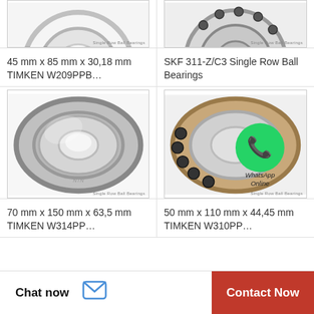[Figure (photo): Ball bearing product image (partial, top) - 45mm x 85mm TIMKEN W209PPB]
Single Row Ball Bearings
[Figure (photo): SKF 311-Z/C3 single row ball bearing cross-section view (partial, top)]
Single Row Ball Bearings
45 mm x 85 mm x 30,18 mm TIMKEN W209PPB…
SKF 311-Z/C3 Single Row Ball Bearings
[Figure (photo): NTN shielded single row ball bearing, full front view]
Single Row Ball Bearings
[Figure (photo): Angular contact ball bearing with WhatsApp Online overlay]
Single Row Ball Bearings
70 mm x 150 mm x 63,5 mm TIMKEN W314PP…
50 mm x 110 mm x 44,45 mm TIMKEN W310PP…
Chat now
Contact Now